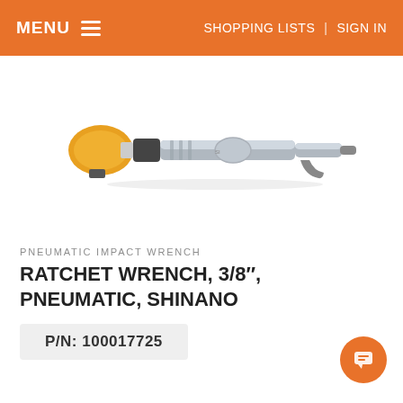MENU  |  SHOPPING LISTS  |  SIGN IN
[Figure (photo): Pneumatic air ratchet wrench with yellow handle on the left end and silver metal body, photographed against a white background.]
PNEUMATIC IMPACT WRENCH
RATCHET WRENCH, 3/8", PNEUMATIC, SHINANO
P/N: 100017725